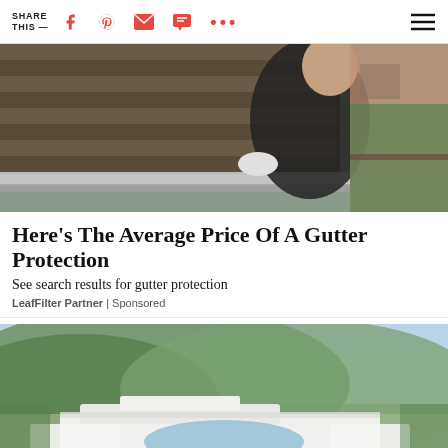SHARE THIS — [facebook icon] [pinterest icon] [email icon] [message icon] [more icon] [menu icon]
[Figure (photo): A worker in dark jacket and gloves installing or cleaning a gutter on a shingled roof, holding the gutter with one hand and a tool with the other. Houses and trees visible in background.]
Here's The Average Price Of A Gutter Protection
See search results for gutter protection
LeafFilter Partner | Sponsored
[Figure (photo): Aerial architectural rendering of a modern white luxury villa/resort building set against a hillside with dense green trees and a city skyline visible in the far background. There appears to be a pool area.]